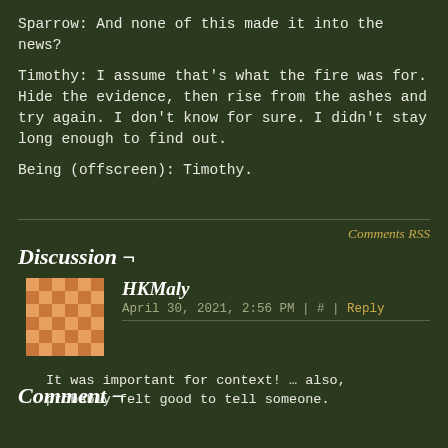Sparrow: And none of this made it into the news?
Timothy: I assume that's what the fire was for. Hide the evidence, then rise from the ashes and try again. I don't know for sure. I didn't stay long enough to find out.
Being (offscreen): Timothy.
Comments RSS
Discussion ¬
HKMaly
April 30, 2021, 2:56 PM | # | Reply
It was important for context! … also, probably felt good to tell someone.
Comment ¬